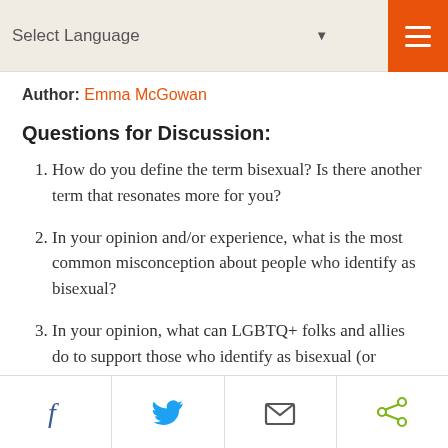Select Language ▼  🔍  ☰
Author: Emma McGowan
Questions for Discussion:
How do you define the term bisexual? Is there another term that resonates more for you?
In your opinion and/or experience, what is the most common misconception about people who identify as bisexual?
In your opinion, what can LGBTQ+ folks and allies do to support those who identify as bisexual (or pansexual, queer, heteroflexible, etc.)
f  Twitter  Mail  Share